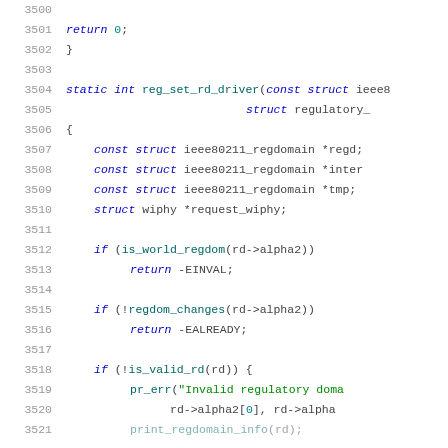[Figure (screenshot): Source code listing in C showing lines 3500-3521, with syntax highlighting. Functions, keywords in blue italic, strings in green, numbers in teal, on white background.]